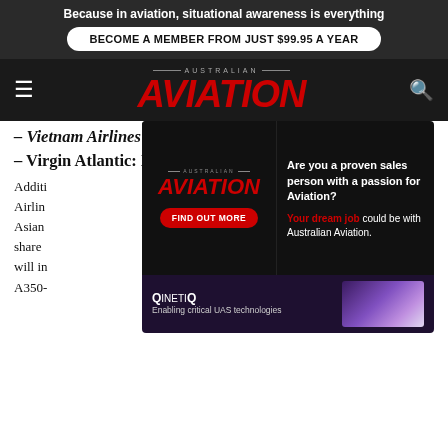Because in aviation, situational awareness is everything
BECOME A MEMBER FROM JUST $99.95 A YEAR
AUSTRALIAN AVIATION
– Vietnam Airlines Boeing 787-9 & Airbus A350-900
– Virgin Atlantic: Boeing 787-9 & Airbus A350-1000
Additionally, [partially obscured by ad overlay] Airlines [...] al, Asian [...] g shared [...] line will include [...] Airbus A350-
[Figure (other): Advertisement overlay for Australian Aviation and QinetiQ, featuring a job posting: 'Are you a proven sales person with a passion for Aviation? FIND OUT MORE. Your dream job could be with Australian Aviation.' Below: QinetiQ - Enabling critical UAS technologies.]
*Boeing 787s are listed in this summary; 1st in each